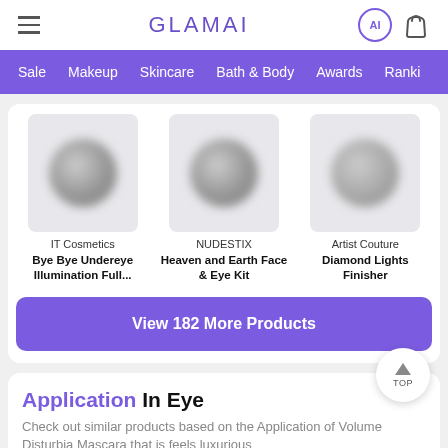GLAMAI
[Figure (screenshot): Navigation bar with Sale, Makeup, Skincare, Bath & Body, Awards, Rankings]
[Figure (photo): Three product images (blurred circles on light grey background) for IT Cosmetics, NUDESTIX, and Artist Couture]
IT Cosmetics
Bye Bye Undereye Illumination Full...
NUDESTIX
Heaven and Earth Face & Eye Kit
Artist Couture
Diamond Lights Finisher
View 182 More Products
Application In Eye
Check out similar products based on the Application of Volume Disturbia Mascara that is feels luxurious